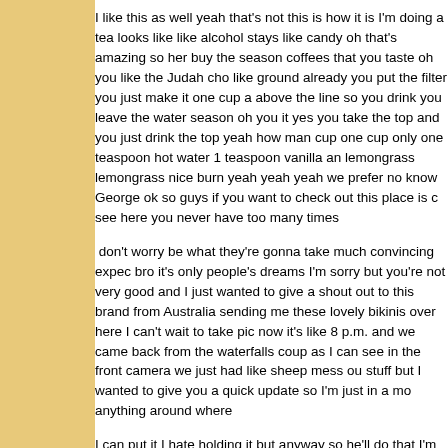I like this as well yeah that's not this is how it is I'm doing a tea looks like like alcohol stays like candy oh that's amazing so her buy the season coffees that you taste oh you like the Judah cho like ground already you put the filter you just make it one cup a above the line so you drink you leave the water season oh you it yes you take the top and you just drink the top yeah how man cup one cup only one teaspoon hot water 1 teaspoon vanilla an lemongrass lemongrass nice burn yeah yeah yeah we prefer no know George ok so guys if you want to check out this place is c see here you never have too many times
don't worry be what they're gonna take much convincing expec bro it's only people's dreams I'm sorry but you're not very good and I just wanted to give a shout out to this brand from Australia sending me these lovely bikinis over here I can't wait to take pic now it's like 8 p.m. and we came back from the waterfalls coup as I can see in the front camera we just had like sheep mess ou stuff but I wanted to give you a quick update so I'm just in a mo anything around where
I can put it I hate holding it but anyway so he'll do that I'm still q to the waterfalls we actually had like about seven places that w were waterfalls and then the other three were like swinging and but we ended up doing just one waterfall first of all because rig